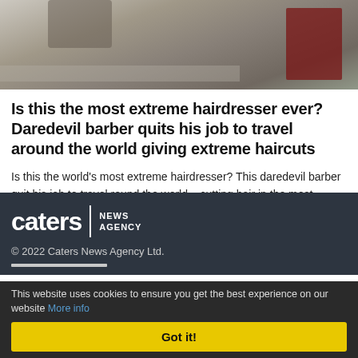[Figure (photo): Top portion of a photo showing a person in wet/flood conditions, partial view of a sign in the background]
Is this the most extreme hairdresser ever? Daredevil barber quits his job to travel around the world giving extreme haircuts
Is this the world's most extreme hairdresser? This daredevil barber quit his job to travel round the world – cutting hair in the most bizarre ... read more>>
caters NEWS AGENCY
© 2022 Caters News Agency Ltd.
This website uses cookies to ensure you get the best experience on our website More info
Got it!